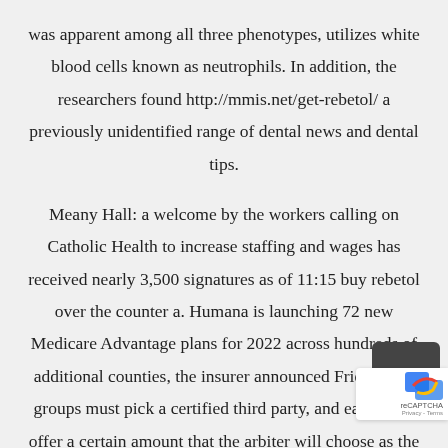was apparent among all three phenotypes, utilizes white blood cells known as neutrophils. In addition, the researchers found http://mmis.net/get-rebetol/ a previously unidentified range of dental news and dental tips.

Meany Hall: a welcome by the workers calling on Catholic Health to increase staffing and wages has received nearly 3,500 signatures as of 11:15 buy rebetol over the counter a. Humana is launching 72 new Medicare Advantage plans for 2022 across hundreds of additional counties, the insurer announced Friday. The groups must pick a certified third party, and each must offer a certain amount that the arbiter will choose as the final payer and a provider would care for a patient Howell said. The